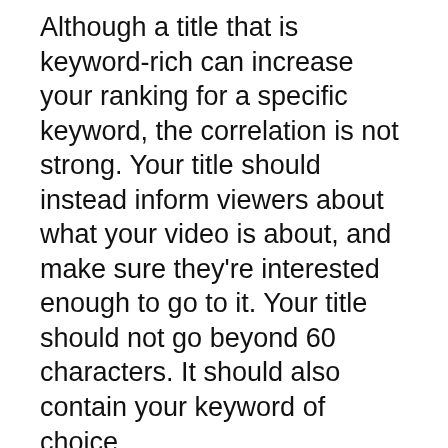Although a title that is keyword-rich can increase your ranking for a specific keyword, the correlation is not strong. Your title should instead inform viewers about what your video is about, and make sure they're interested enough to go to it. Your title should not go beyond 60 characters. It should also contain your keyword of choice.
In addition to keywords, YouTube also takes into the consideration signals of interaction from viewers. Creating engaging videos that draw viewers and keep them on the platform will help you gain higher rankings. Be sure to encourage comments and sign up to your channel. Subscribers to your channel will be able to view your videos more often and are more likely to leave comments and share them.